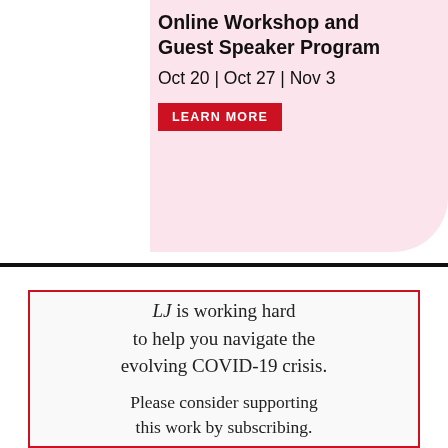[Figure (infographic): Pink banner advertising an Online Workshop and Guest Speaker Program on Oct 20, Oct 27, and Nov 3, with a colorful people-circle logo and a red LEARN MORE button]
LJ is working hard to help you navigate the evolving COVID-19 crisis. Please consider supporting this work by subscribing.